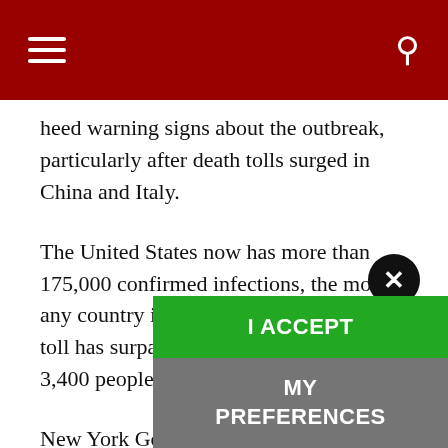Navigation bar with hamburger menu and search icon
heed warning signs about the outbreak, particularly after death tolls surged in China and Italy.
The United States now has more than 175,000 confirmed infections, the most of any country in the world, and the death toll has surpassed China's, with more than 3,400 people dying of the virus.
New York Governor Andrew Cuomo said on Tuesday that the number of people in New York who have tested positive for the coronavirus increased to 9,298 from a d… the total cases rise to 75,795, with deaths rising by 27 per cent to 1,550. "The virus is more powerful, … than we expected," Cuomo told a daily news…